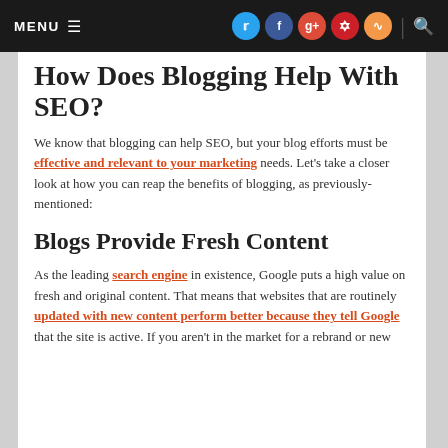MENU   [social icons: Twitter, Facebook, Google+, Pinterest, RSS]  | [Search]
How Does Blogging Help With SEO?
We know that blogging can help SEO, but your blog efforts must be effective and relevant to your marketing needs. Let's take a closer look at how you can reap the benefits of blogging, as previously-mentioned:
Blogs Provide Fresh Content
As the leading search engine in existence, Google puts a high value on fresh and original content. That means that websites that are routinely updated with new content perform better because they tell Google that the site is active. If you aren't in the market for a rebrand or new